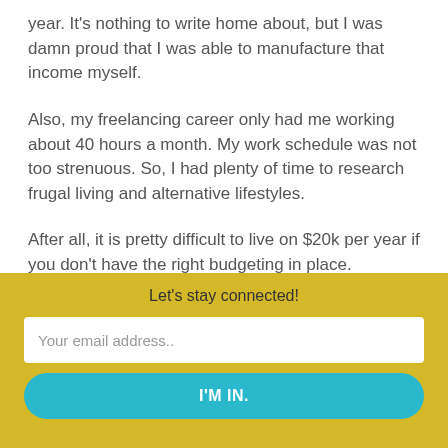year. It's nothing to write home about, but I was damn proud that I was able to manufacture that income myself.
Also, my freelancing career only had me working about 40 hours a month. My work schedule was not too strenuous. So, I had plenty of time to research frugal living and alternative lifestyles.
After all, it is pretty difficult to live on $20k per year if you don't have the right budgeting in place.
Let's stay connected!
Your email address..
I'M IN.